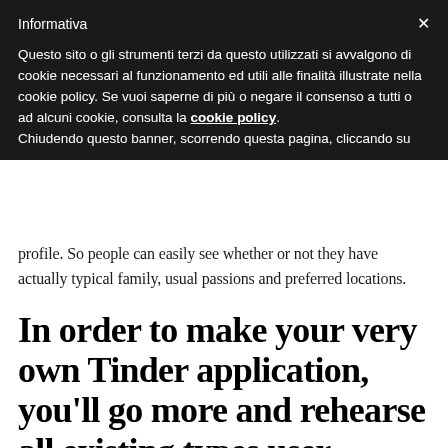Informativa
Questo sito o gli strumenti terzi da questo utilizzati si avvalgono di cookie necessari al funzionamento ed utili alle finalità illustrate nella cookie policy. Se vuoi saperne di più o negare il consenso a tutti o ad alcuni cookie, consulta la cookie policy. Chiudendo questo banner, scorrendo questa pagina, cliccando su
profile. So people can easily see whether or not they have actually typical family, usual passions and preferred locations.
In order to make your very own Tinder application, you'll go more and rehearse all existing types user authorization